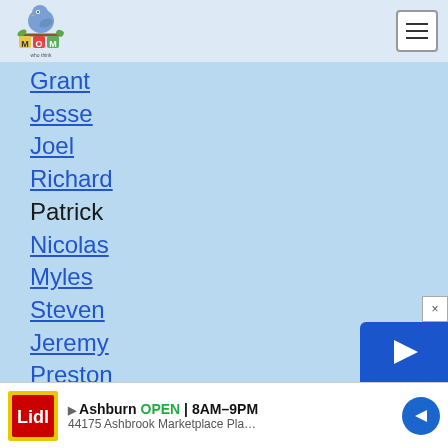[Figure (logo): Moms Who Think website logo with cartoon bird on alphabet blocks]
Grant
Jesse
Joel
Richard
Patrick
Nicolas
Myles
Steven
Jeremy
Preston
Oscar
Kaleb
Marcus
Ashburn OPEN | 8AM–9PM 44175 Ashbrook Marketplace Pla…